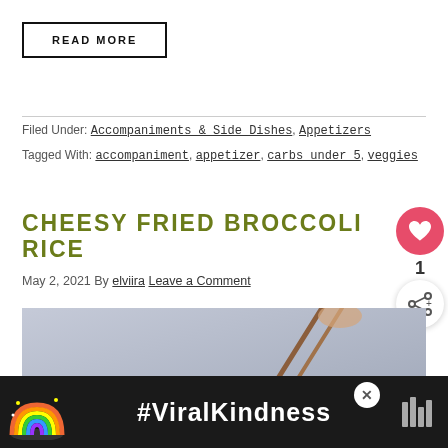READ MORE
Filed Under: Accompaniments & Side Dishes, Appetizers
Tagged With: accompaniment, appetizer, carbs under 5, veggies
CHEESY FRIED BROCCOLI RICE
May 2, 2021 By elviira Leave a Comment
[Figure (photo): Photo of hands holding chopsticks over broccoli fried rice dish, blurred grey background]
[Figure (infographic): Advertisement banner: rainbow illustration with #ViralKindness text on dark background]